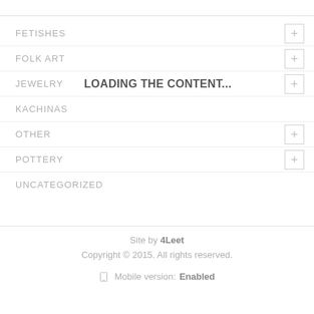FETISHES
FOLK ART
JEWELRY
LOADING THE CONTENT...
KACHINAS
OTHER
POTTERY
UNCATEGORIZED
Site by 4Leet
Copyright © 2015. All rights reserved.
Mobile version: Enabled